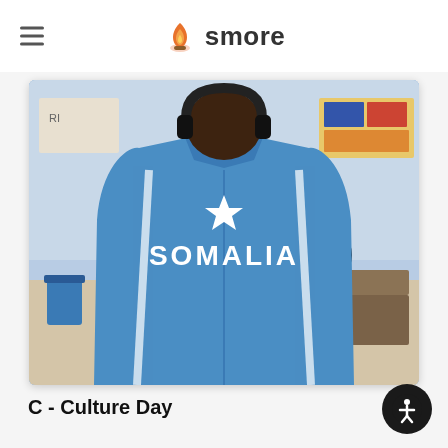smore
[Figure (photo): A student seen from behind wearing a blue Somalia jacket with a white star and 'SOMALIA' text, in a classroom setting with other students visible]
C - Culture Day